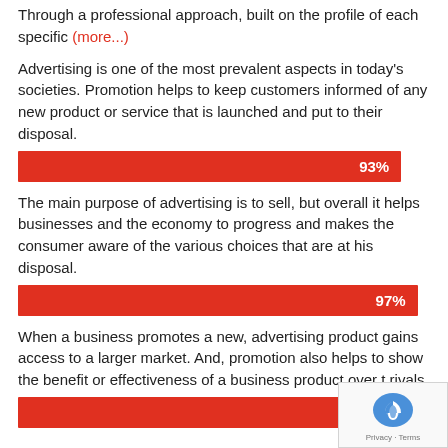Through a professional approach, built on the profile of each specific (more...)
Advertising is one of the most prevalent aspects in today's societies. Promotion helps to keep customers informed of any new product or service that is launched and put to their disposal.
[Figure (bar-chart): 93% bar]
The main purpose of advertising is to sell, but overall it helps businesses and the economy to progress and makes the consumer aware of the various choices that are at his disposal.
[Figure (bar-chart): 97% bar]
When a business promotes a new, advertising product gains access to a larger market. And, promotion also helps to show the benefit or effectiveness of a business product over their rivals.
[Figure (bar-chart): 89% bar]